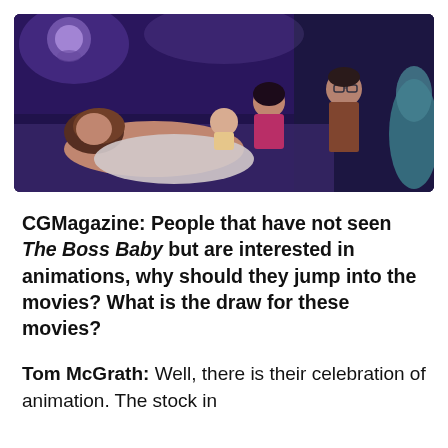[Figure (illustration): Animated scene from The Boss Baby sequel showing animated characters: a woman lying in bed, a young girl leaning over, a small child, and a man with glasses standing, in a purple-lit room]
CGMagazine: People that have not seen The Boss Baby but are interested in animations, why should they jump into the movies? What is the draw for these movies?
Tom McGrath: Well, there is their celebration of animation. The stock in